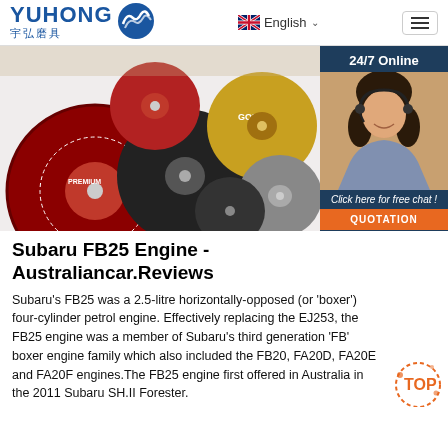YUHONG 宇弘磨具 | English
[Figure (photo): Product photo showing multiple grinding/cutting discs in red, black and gold colors scattered on a white surface. Brand labels visible including GOLD and other markings.]
[Figure (photo): 24/7 Online chat panel with a smiling woman wearing a headset, with 'Click here for free chat!' text and an orange QUOTATION button.]
Subaru FB25 Engine - Australiancar.Reviews
Subaru's FB25 was a 2.5-litre horizontally-opposed (or 'boxer') four-cylinder petrol engine. Effectively replacing the EJ253, the FB25 engine was a member of Subaru's third generation 'FB' boxer engine family which also included the FB20, FA20D, FA20E and FA20F engines.The FB25 engine first offered in Australia in the 2011 Subaru SH.II Forester.